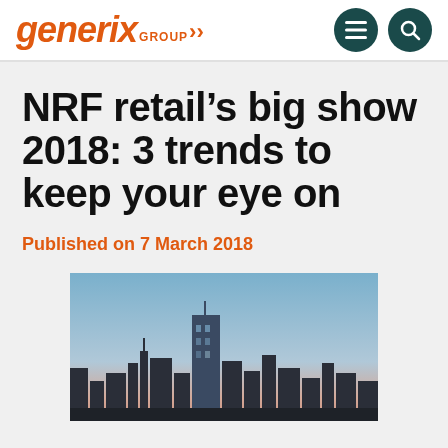generix GROUP
NRF retail’s big show 2018: 3 trends to keep your eye on
Published on 7 March 2018
[Figure (photo): City skyline at dusk with tall buildings against a blue-pink gradient sky]